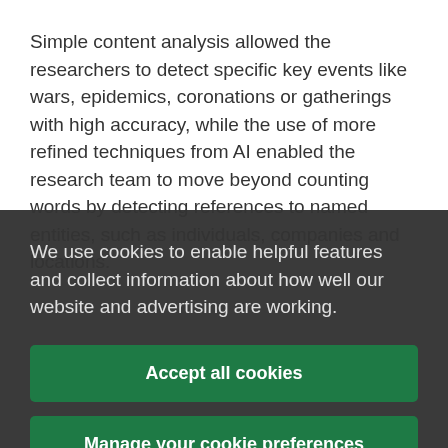Simple content analysis allowed the researchers to detect specific key events like wars, epidemics, coronations or gatherings with high accuracy, while the use of more refined techniques from AI enabled the research team to move beyond counting words by detecting references to named entities, such as individuals, companies and locations.
We use cookies to enable helpful features and collect information about how well our website and advertising are working.
Accept all cookies
Manage your cookie preferences